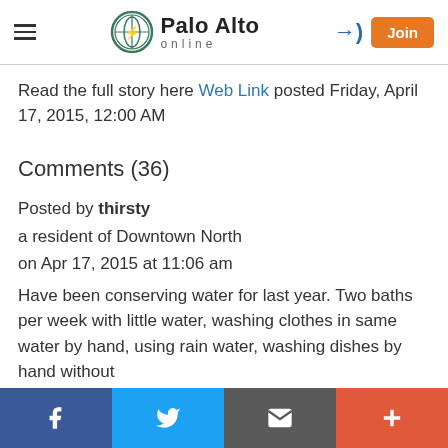Palo Alto online
Read the full story here Web Link posted Friday, April 17, 2015, 12:00 AM
Comments (36)
Posted by thirsty
a resident of Downtown North
on Apr 17, 2015 at 11:06 am
Have been conserving water for last year. Two baths per week with little water, washing clothes in same water by hand, using rain water, washing dishes by hand without
f  [Twitter]  [email]  +